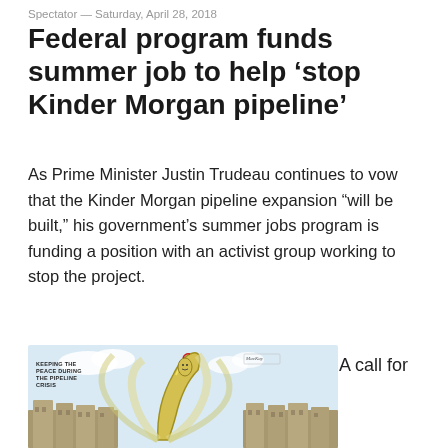Spectator — Saturday, April 28, 2018
Federal program funds summer job to help ‘stop Kinder Morgan pipeline’
As Prime Minister Justin Trudeau continues to vow that the Kinder Morgan pipeline expansion “will be built,” his government’s summer jobs program is funding a position with an activist group working to stop the project.
[Figure (illustration): Editorial cartoon showing a banana-shaped pipeline character dancing above Parliament Hill buildings, with text 'KEEPING THE PEACE DURING THE PIPELINE CRISIS' in the upper left corner. Cartoonist signature reads MacKay.]
A call for